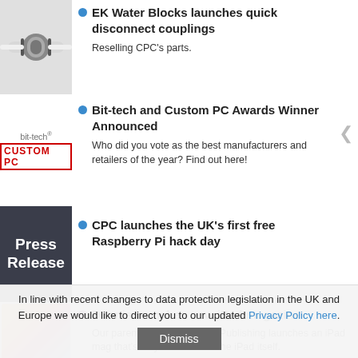EK Water Blocks launches quick disconnect couplings
Reselling CPC's parts.
Bit-tech and Custom PC Awards Winner Announced
Who did you vote as the best manufacturers and retailers of the year? Find out here!
CPC launches the UK's first free Raspberry Pi hack day
Dennis launches new iPad magazine
Our parent company Dennis Publishing launches an iPad mag that's only available on the iPad itself.
In line with recent changes to data protection legislation in the UK and Europe we would like to direct you to our updated Privacy Policy here.
Dismiss